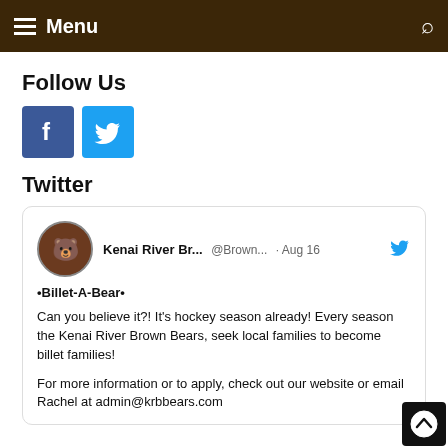Menu
Follow Us
[Figure (logo): Facebook and Twitter social media icon buttons]
Twitter
Kenai River Br... @Brown... · Aug 16
•Billet-A-Bear•

Can you believe it?! It's hockey season already! Every season the Kenai River Brown Bears, seek local families to become billet families!

For more information or to apply, check out our website or email Rachel at admin@krbbears.com